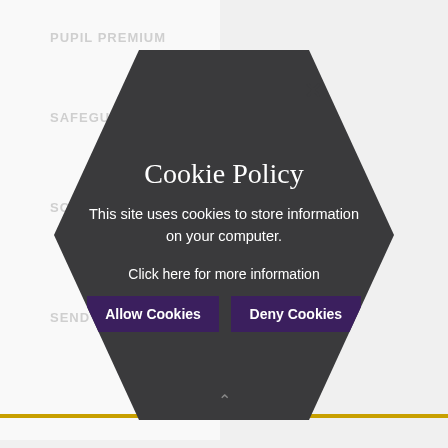PUPIL PREMIUM
SAFEGUARDING
SCHOOL MEALS
SEND
[Figure (infographic): Cookie Policy modal dialog displayed as a dark hexagon shape overlay on a school website navigation page. Contains title 'Cookie Policy', descriptive text, a link, and two buttons: Allow Cookies and Deny Cookies.]
Cookie Policy
This site uses cookies to store information on your computer.
Click here for more information
Allow Cookies
Deny Cookies